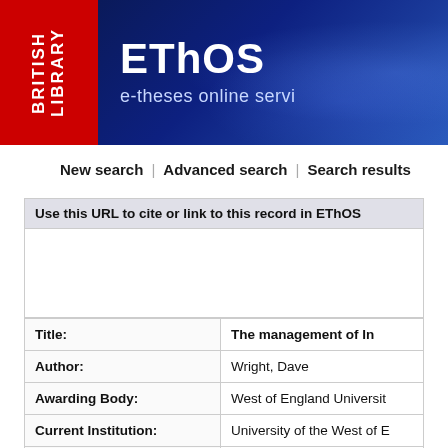[Figure (logo): British Library EThOS (e-theses online service) banner header with red British Library logo on left and dark blue EThOS banner on right]
New search | Advanced search | Search results
Use this URL to cite or link to this record in EThOS:
| Title: | The management of In... |
| Author: | Wright, Dave |
| Awarding Body: | West of England Universit... |
| Current Institution: | University of the West of E... |
| Date of Award: | 2008 |
|  |  |